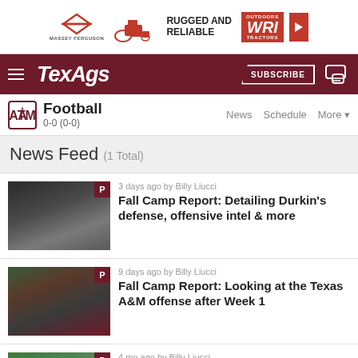[Figure (screenshot): Massey Ferguson tractor advertisement banner with WRI Outdoors Tractors logo. Text: RUGGED AND RELIABLE]
TexAgs — SUBSCRIBE
Football 0-0 (0-0)  News  Schedule  More
News Feed (1 Total)
3 days ago by Billy Liucci — Fall Camp Report: Detailing Durkin's defense, offensive intel & more
9 days ago by Billy Liucci — Fall Camp Report: Looking at the Texas A&M offense after Week 1
4 mo ago by Billy Liucci — Spring Ball Report: An in-depth look at the offensive side of the ball